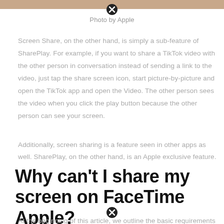[Figure (photo): Top portion of an Apple photo, partially cropped]
Photo by Apple
Screen Share, on the other hand, is simply a sub-feature of SharePlay. For example, if you want to share a TikTok video with the other person in conversation instead of sending a link to the video, just tap the share screen icon, start picture-by-picture and open the TikTok app and open the Video. The other person sees the video when you click the play button because the other person can see your screen.
Additionally, screen sharing is a feature seen in other apps as well. SharePlay, on the other hand, is an Apple exclusive feature.
Why can't I share my screen on FaceTime Apple?
At the beginning of this article, we outline the basic requirements before